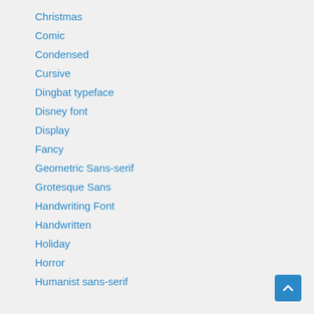Christmas
Comic
Condensed
Cursive
Dingbat typeface
Disney font
Display
Fancy
Geometric Sans-serif
Grotesque Sans
Handwriting Font
Handwritten
Holiday
Horror
Humanist sans-serif